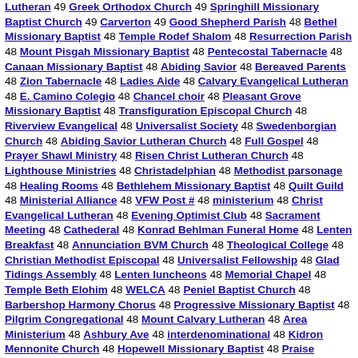Lutheran 49 Greek Orthodox Church 49 Springhill Missionary Baptist Church 49 Carverton 49 Good Shepherd Parish 48 Bethel Missionary Baptist 48 Temple Rodef Shalom 48 Resurrection Parish 48 Mount Pisgah Missionary Baptist 48 Pentecostal Tabernacle 48 Canaan Missionary Baptist 48 Abiding Savior 48 Bereaved Parents 48 Zion Tabernacle 48 Ladies Aide 48 Calvary Evangelical Lutheran 48 E. Camino Colegio 48 Chancel choir 48 Pleasant Grove Missionary Baptist 48 Transfiguration Episcopal Church 48 Riverview Evangelical 48 Universalist Society 48 Swedenborgian Church 48 Abiding Savior Lutheran Church 48 Full Gospel 48 Prayer Shawl Ministry 48 Risen Christ Lutheran Church 48 Lighthouse Ministries 48 Christadelphian 48 Methodist parsonage 48 Healing Rooms 48 Bethlehem Missionary Baptist 48 Quilt Guild 48 Ministerial Alliance 48 VFW Post # 48 ministerium 48 Christ Evangelical Lutheran 48 Evening Optimist Club 48 Sacrament Meeting 48 Cathederal 48 Konrad Behlman Funeral Home 48 Lenten Breakfast 48 Annunciation BVM Church 48 Theological College 48 Christian Methodist Episcopal 48 Universalist Fellowship 48 Glad Tidings Assembly 48 Lenten luncheons 48 Memorial Chapel 48 Temple Beth Elohim 48 WELCA 48 Peniel Baptist Church 48 Barbershop Harmony Chorus 48 Progressive Missionary Baptist 48 Pilgrim Congregational 48 Mount Calvary Lutheran 48 Area Ministerium 48 Ashbury Ave 48 interdenominational 48 Kidron Mennonite Church 48 Hopewell Missionary Baptist 48 Praise Worship 48